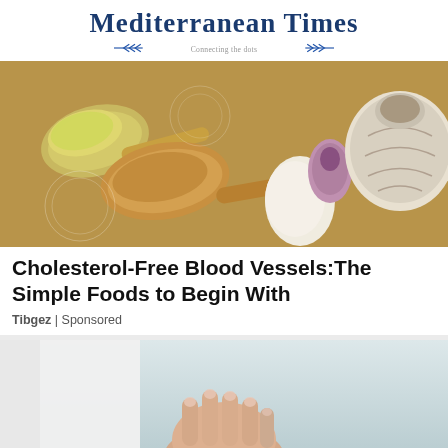Mediterranean Times — Connecting the dots
[Figure (photo): Overhead photo of wooden spoons with ground spices (yellow minced garlic/ginger and brown spice powder) alongside garlic cloves and a whole garlic bulb on a wooden surface]
Cholesterol-Free Blood Vessels:The Simple Foods to Begin With
Tibgez | Sponsored
[Figure (photo): Partial image showing a person in white coat with hands clasped, light blue-grey background, bottom portion cut off]